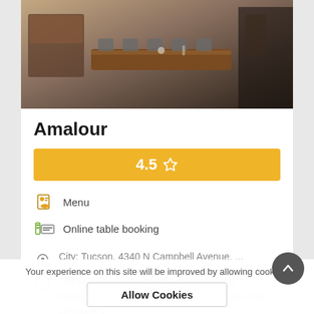[Figure (photo): Interior photo of Amalour restaurant showing wooden tables with metal chairs in a dimly lit setting]
Amalour
4.5 ☆
Menu
Online table booking
City: Tucson, 4340 N Campbell Avenue, ...
The average rating of 4.5 shows that the restaurant is one of the favorites amongst all its customers.
Your experience on this site will be improved by allowing cookies.
Allow Cookies